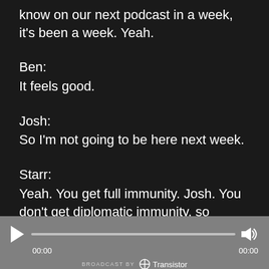know on our next podcast in a week, it's been a week. Yeah.
Ben:
It feels good.
Josh:
So I'm not going to be here next week.
Starr:
Yeah. You get full immunity. Josh. You don't get diplomatic immunity, so
[Figure (screenshot): Podcast audio player bar with play button, progress bar showing 00:00 / 00:00, volume icon, and 'BROADCAST BY Transistor' branding at bottom.]